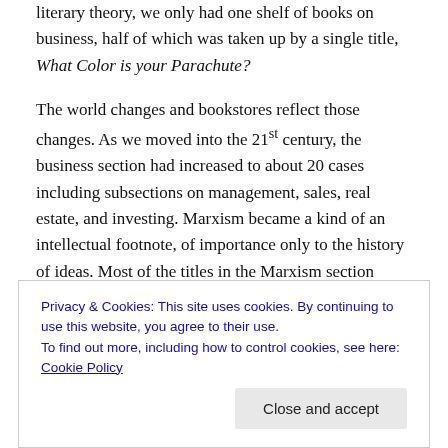literary theory, we only had one shelf of books on business, half of which was taken up by a single title, What Color is your Parachute?
The world changes and bookstores reflect those changes. As we moved into the 21st century, the business section had increased to about 20 cases including subsections on management, sales, real estate, and investing. Marxism became a kind of an intellectual footnote, of importance only to the history of ideas. Most of the titles in the Marxism section quietly went out of print or stopped selling. And we folded up the section and incorporated the
Privacy & Cookies: This site uses cookies. By continuing to use this website, you agree to their use.
To find out more, including how to control cookies, see here: Cookie Policy